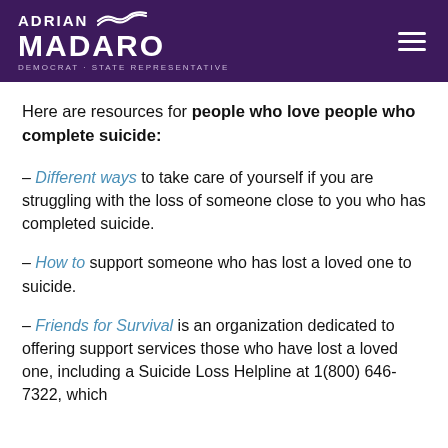ADRIAN MADARO — DEMOCRAT · STATE REPRESENTATIVE
Here are resources for people who love people who complete suicide:
– Different ways to take care of yourself if you are struggling with the loss of someone close to you who has completed suicide.
– How to support someone who has lost a loved one to suicide.
– Friends for Survival is an organization dedicated to offering support services those who have lost a loved one, including a Suicide Loss Helpline at 1(800) 646-7322, which